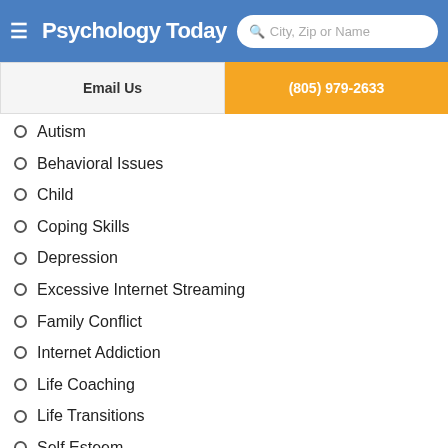Psychology Today | City, Zip or Name
Email Us | (805) 979-2633
Autism
Behavioral Issues
Child
Coping Skills
Depression
Excessive Internet Streaming
Family Conflict
Internet Addiction
Life Coaching
Life Transitions
Self Esteem
Snapchat / Instagram Dysphoria
Stress
Client Focus